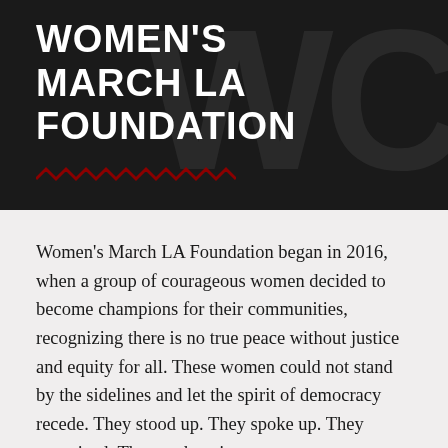WOMEN'S MARCH LA FOUNDATION
Women's March LA Foundation began in 2016, when a group of courageous women decided to become champions for their communities, recognizing there is no true peace without justice and equity for all. These women could not stand by the sidelines and let the spirit of democracy recede. They stood up. They spoke up. They organized. They took action.
Women's March LA was the flagship march organizer and from the onset delivered — not only for Southern California but for the entire country — a model to inspire civic engagement